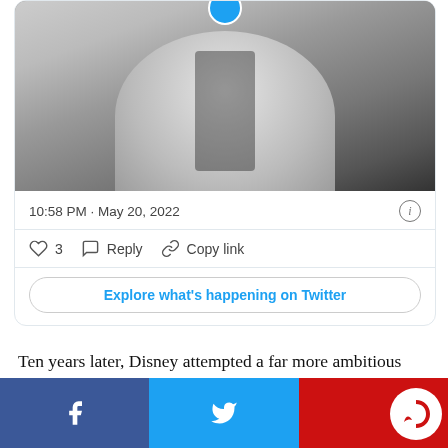[Figure (screenshot): Twitter/X embedded tweet card showing a black and white photo of a person in a white shirt, with tweet metadata showing '10:58 PM · May 20, 2022', 3 likes, Reply and Copy link actions, and an 'Explore what's happening on Twitter' button]
Ten years later, Disney attempted a far more ambitious merger of live action and animation in the wildly underrated feature The Three Caballeros (1944), a stream-of-consciousness burst of South American psychedelia produced as part of the USA's Good Neighbor polic
[Figure (infographic): Social media share bar at the bottom with three sections: Facebook (dark blue with f icon), Twitter (blue with bird icon), and a red section with a logo]